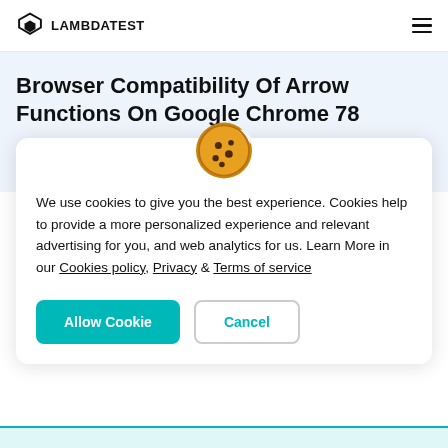LAMBDATEST
Browser Compatibility Of Arrow Functions On Google Chrome 78
We use cookies to give you the best experience. Cookies help to provide a more personalized experience and relevant advertising for you, and web analytics for us. Learn More in our Cookies policy, Privacy & Terms of service
Allow Cookie  Cancel